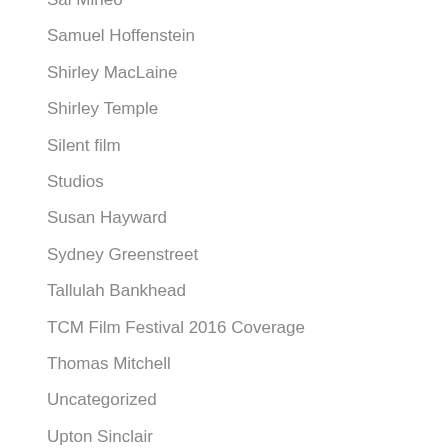Sal Mineo
Samuel Hoffenstein
Shirley MacLaine
Shirley Temple
Silent film
Studios
Susan Hayward
Sydney Greenstreet
Tallulah Bankhead
TCM Film Festival 2016 Coverage
Thomas Mitchell
Uncategorized
Upton Sinclair
Van Heflin
Vera Caspary